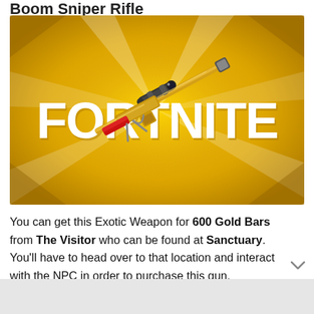Boom Sniper Rifle
[Figure (screenshot): Fortnite promotional image showing a gold sniper rifle overlaid on a golden Fortnite logo background with white diagonal rays]
You can get this Exotic Weapon for 600 Gold Bars from The Visitor who can be found at Sanctuary. You'll have to head over to that location and interact with the NPC in order to purchase this gun.